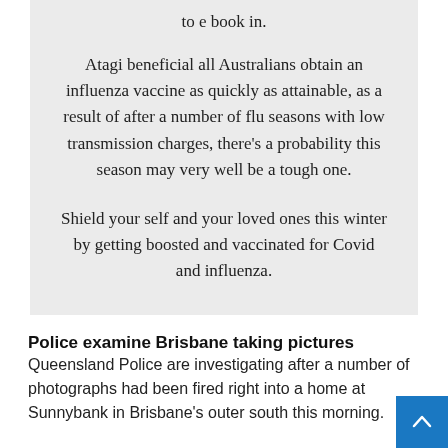to e book in.
Atagi beneficial all Australians obtain an influenza vaccine as quickly as attainable, as a result of after a number of flu seasons with low transmission charges, there's a probability this season may very well be a tough one.
Shield your self and your loved ones this winter by getting boosted and vaccinated for Covid and influenza.
Police examine Brisbane taking pictures
Queensland Police are investigating after a number of photographs had been fired right into a home at Sunnybank in Brisbane's outer south this morning.